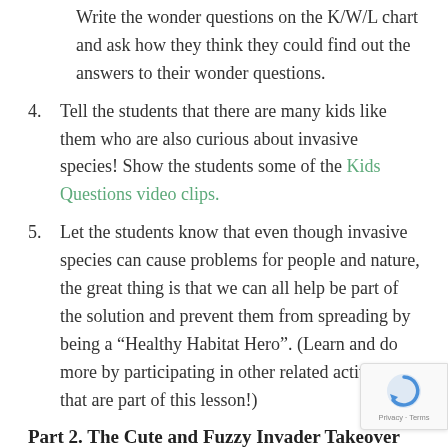Write the wonder questions on the K/W/L chart and ask how they think they could find out the answers to their wonder questions.
4. Tell the students that there are many kids like them who are also curious about invasive species! Show the students some of the Kids Questions video clips.
5. Let the students know that even though invasive species can cause problems for people and nature, the great thing is that we can all help be part of the solution and prevent them from spreading by being a “Healthy Habitat Hero”. (Learn and do more by participating in other related activities that are part of this lesson!)
Part 2. The Cute and Fuzzy Invader Takeover